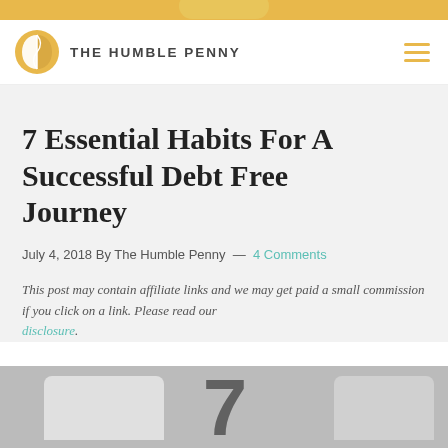THE HUMBLE PENNY
7 Essential Habits For A Successful Debt Free Journey
July 4, 2018 By The Humble Penny — 4 Comments
This post may contain affiliate links and we may get paid a small commission if you click on a link. Please read our disclosure.
[Figure (photo): Featured image showing the number 7 with decorative panels, representing the 7 habits article]